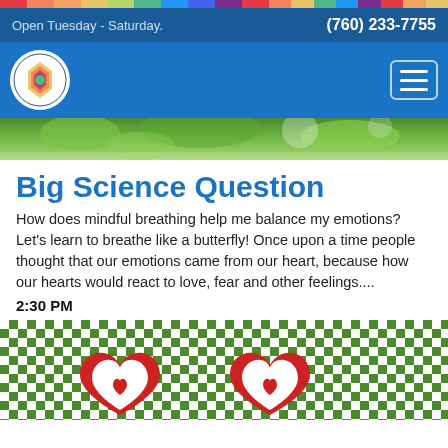Open Tuesday - Saturday.    (760) 233-7755
[Figure (logo): San Diego Children's Discovery Museum circular logo]
[Figure (photo): Green foliage banner image]
Big Science Question
How does mindful breathing help me balance my emotions? Let's learn to breathe like a butterfly! Once upon a time people thought that our emotions came from our heart, because how our hearts would react to love, fear and other feelings....
2:30 PM
[Figure (photo): Green and white checkered tablecloth with red heart-shaped decorations]